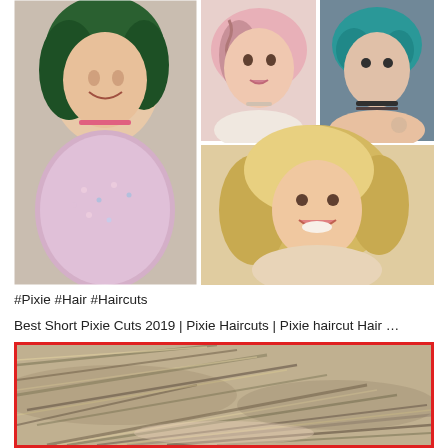[Figure (photo): Collage of four women with different hair styles: left - woman with green curly hair in pink fluffy top; top center - woman with pink braided bob; top right - woman with teal/turquoise pixie cut; bottom center - woman with blonde bob hairstyle.]
#Pixie #Hair #Haircuts
Best Short Pixie Cuts 2019 | Pixie Haircuts | Pixie haircut Hair …
[Figure (photo): Close-up photo of a woman's blonde/ash highlighted short pixie haircut, shown from above/behind. Red border frame around the image.]